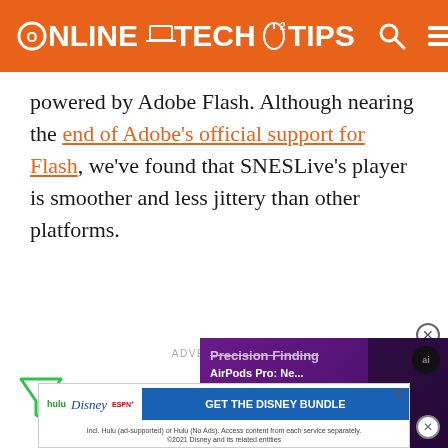Online Tech Tips
powered by Adobe Flash. Although nearing the end of Adobe's official support for Flash, we've found that SNESLive's player is smoother and less jittery than other platforms.
[Figure (screenshot): Video widget showing AirPods Pro: Precision Finding, Pairing Lock, Left-Behind Alerts with play button overlay]
ADVERTISEMENT
[Figure (screenshot): Disney Bundle advertisement: hulu, Disney+, ESPN+ - GET THE DISNEY BUNDLE. Incl. Hulu (ad-supported) or Hulu (No Ads). Access content from each service separately. ©2021 Disney and its related entities]